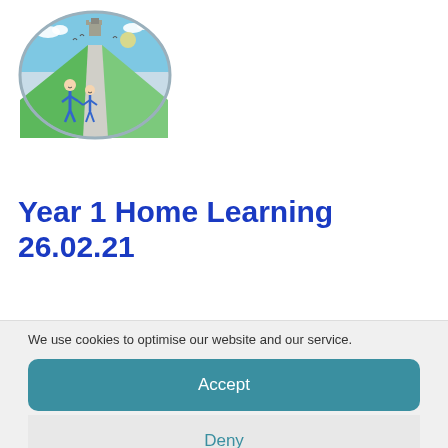[Figure (logo): School logo: oval shape with illustrated children holding hands, path leading to a castle, blue sky and green fields, child-drawn art style]
Year 1 Home Learning 26.02.21
We use cookies to optimise our website and our service.
Accept
Deny
Preferences